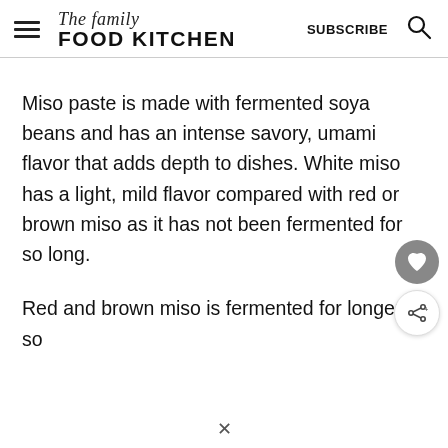The family FOOD KITCHEN | SUBSCRIBE
Miso paste is made with fermented soya beans and has an intense savory, umami flavor that adds depth to dishes. White miso has a light, mild flavor compared with red or brown miso as it has not been fermented for so long.
Red and brown miso is fermented for longer so